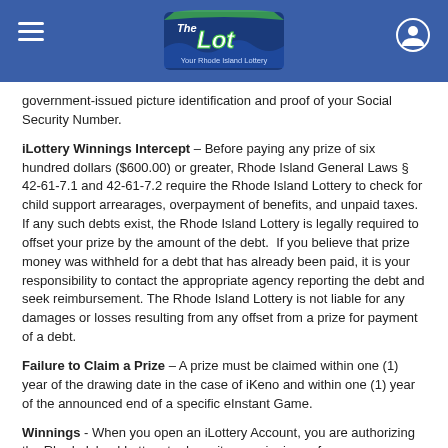The Lot — Your Rhode Island Lottery
government-issued picture identification and proof of your Social Security Number.
iLottery Winnings Intercept – Before paying any prize of six hundred dollars ($600.00) or greater, Rhode Island General Laws § 42-61-7.1 and 42-61-7.2 require the Rhode Island Lottery to check for child support arrearages, overpayment of benefits, and unpaid taxes. If any such debts exist, the Rhode Island Lottery is legally required to offset your prize by the amount of the debt. If you believe that prize money was withheld for a debt that has already been paid, it is your responsibility to contact the appropriate agency reporting the debt and seek reimbursement. The Rhode Island Lottery is not liable for any damages or losses resulting from any offset from a prize for payment of a debt.
Failure to Claim a Prize – A prize must be claimed within one (1) year of the drawing date in the case of iKeno and within one (1) year of the announced end of a specific eInstant Game.
Winnings - When you open an iLottery Account, you are authorizing the Rhode Island Lottery to deposit your winnings of